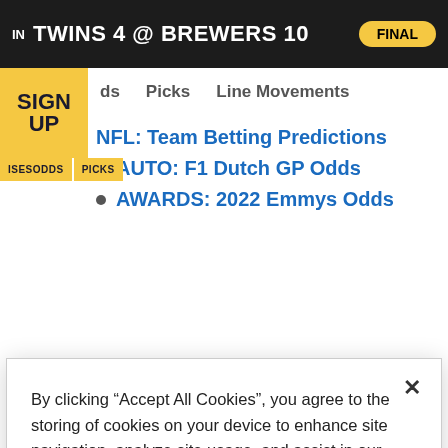IN   TWINS 4 @ BREWERS 10   FINAL
ds   Picks   Line Movements
SIGN UP
ISESODDS  PICKS
NFL: Team Betting Predictions
AUTO: F1 Dutch GP Odds
AWARDS: 2022 Emmys Odds
By clicking “Accept All Cookies”, you agree to the storing of cookies on your device to enhance site navigation, analyze site usage, and assist in our marketing efforts.
Cookies Settings
Reject All
Accept All Cookies